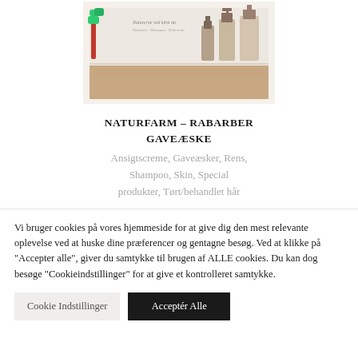[Figure (photo): Product image of Naturfarm Rabarber Gaveæske gift box set with skincare bottles and packaging on a kraft cardboard box background]
NATURFARM – RABARBER GAVEÆSKE
Ansigtscreme, Gaveæsker, Rens, Shampoo, Skin, Special produkter, Tørt/behandlet hår
Vi bruger cookies på vores hjemmeside for at give dig den mest relevante oplevelse ved at huske dine præferencer og gentagne besøg. Ved at klikke på "Acceptér alle", giver du samtykke til brugen af ALLE cookies. Du kan dog besøge "Cookieindstillinger" for at give et kontrolleret samtykke.